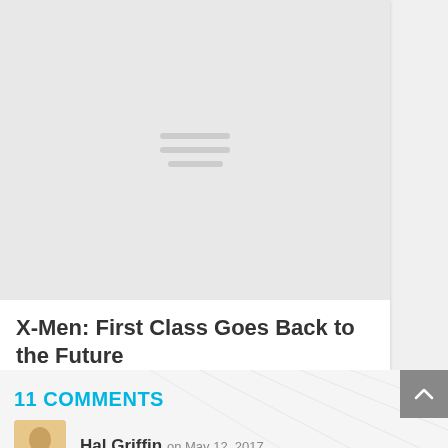[Figure (illustration): Light gray placeholder thumbnail image with three horizontal hamburger-style lines centered]
X-Men: First Class Goes Back to the Future
August 3, 2012
11 COMMENTS
Hal Griffin on May 12, 2017